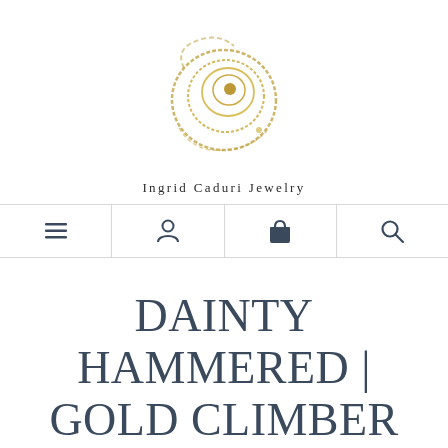[Figure (logo): Ingrid Caduri Jewelry logo: circular golden brushstroke spiral design with a dot at center, brand name 'Ingrid Caduri Jewelry' below in small caps serif font]
[Figure (infographic): Navigation bar with four icons: hamburger menu, user/person icon, shopping bag/cart icon, and search/magnifying glass icon, separated by vertical dividers]
DAINTY HAMMERED | GOLD CLIMBER EARRINGS